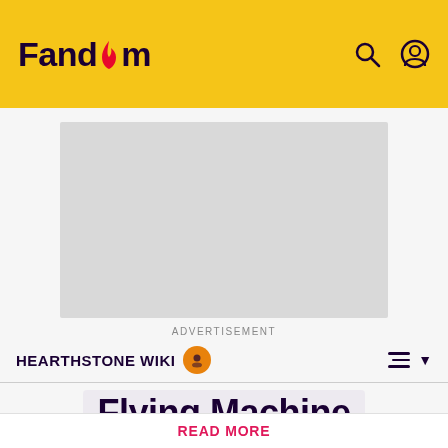Fandom
[Figure (other): Advertisement placeholder (gray rectangle)]
ADVERTISEMENT
HEARTHSTONE WIKI
Flying Machine
✏ EDIT
Hearthstone Wiki's database has been updated to Patch 24.0.0.145077!
READ MORE